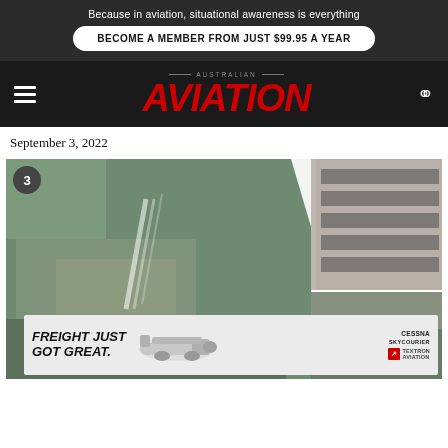Because in aviation, situational awareness is everything
BECOME A MEMBER FROM JUST $99.95 A YEAR
AUSTRALIAN AVIATION
September 3, 2022
[Figure (photo): Composite of three aviation-related photos showing rocky terrain with water spray on the left, a tall building/tower in the upper right, and a landscape scene in the lower right. A circular badge with number 3 overlays the top-left corner.]
[Figure (other): Advertisement banner: FREIGHT JUST GOT GREAT. with Cessna SkyCourier aircraft image and Textron Aviation logo]